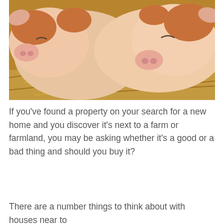[Figure (photo): Two piglets with brown and white markings sleeping together on straw/hay]
If you've found a property on your search for a new home and you discover it's next to a farm or farmland, you may be asking whether it's a good or a bad thing and should you buy it?
There are a number things to think about with houses near to